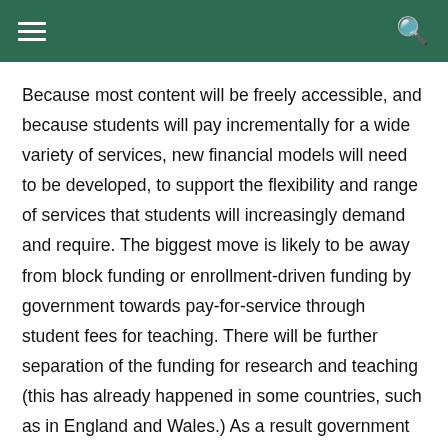[hamburger menu] [search icon]
Because most content will be freely accessible, and because students will pay incrementally for a wide variety of services, new financial models will need to be developed, to support the flexibility and range of services that students will increasingly demand and require. The biggest move is likely to be away from block funding or enrollment-driven funding by government towards pay-for-service through student fees for teaching. There will be further separation of the funding for research and teaching (this has already happened in some countries, such as in England and Wales.) As a result government financing may well change, so that students are given a post-secondary grant at the age of 17, and have the right to decide how to spend that grant on post-secondary education, rather than funding institutions directly for teaching.